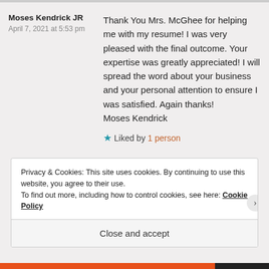Moses Kendrick JR
April 7, 2021 at 5:53 pm
Thank You Mrs. McGhee for helping me with my resume! I was very pleased with the final outcome. Your expertise was greatly appreciated! I will spread the word about your business and your personal attention to ensure I was satisfied. Again thanks!
Moses Kendrick
★ Liked by 1 person
Privacy & Cookies: This site uses cookies. By continuing to use this website, you agree to their use.
To find out more, including how to control cookies, see here: Cookie Policy
Close and accept